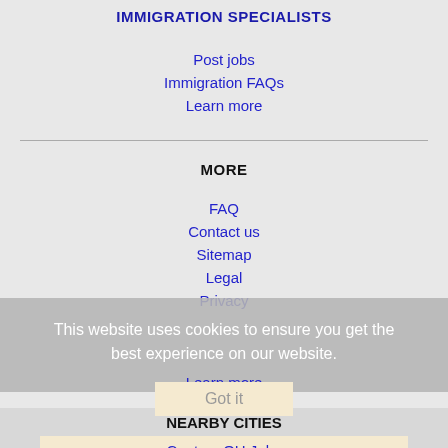IMMIGRATION SPECIALISTS
Post jobs
Immigration FAQs
Learn more
MORE
FAQ
Contact us
Sitemap
Legal
Privacy
This website uses cookies to ensure you get the best experience on our website.
Learn more
NEARBY CITIES
Canton, OH Jobs
Cleveland, OH Jobs
Cleveland Heights, OH Jobs